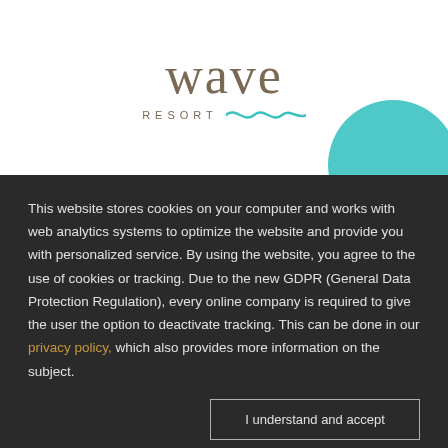[Figure (logo): Wave Resort logo with stylized wave text in taupe/brown, 'RESORT' in small caps below, and a teal wave squiggle icon]
This website stores cookies on your computer and works with web analytics systems to optimize the website and provide you with personalized service. By using the website, you agree to the use of cookies or tracking. Due to the new GDPR (General Data Protection Regulation), every online company is required to give the user the option to deactivate tracking. This can be done in our privacy policy, which also provides more information on the subject.
I understand and accept